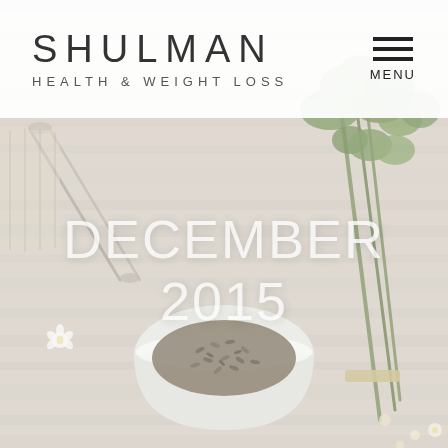[Figure (photo): Background photo of herbs, flowers, and a white mortar bowl with seeds/spices on a light wooden surface]
SHULMAN HEALTH & WEIGHT LOSS
DECEMBER 2015